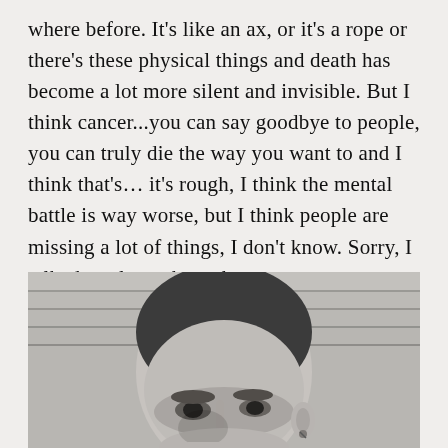where before. It's like an ax, or it's a rope or there's these physical things and death has become a lot more silent and invisible. But I think cancer...you can say goodbye to people, you can truly die the way you want to and I think that's... it's rough, I think the mental battle is way worse, but I think people are missing a lot of things, I don't know. Sorry, I talked too long about that.
[Figure (photo): Black and white close-up portrait photograph of a person with a shaved/closely cropped head, looking downward with a serious expression. The person has a small earring visible. Background appears to be horizontal siding or paneling.]